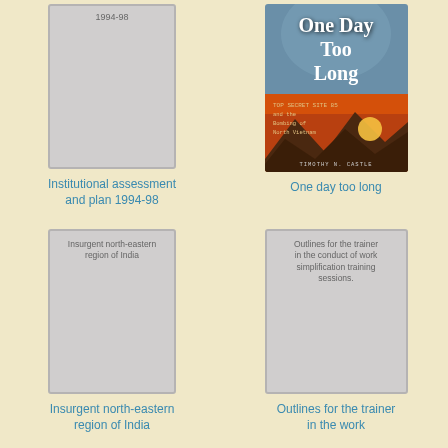[Figure (illustration): Book cover placeholder for Institutional assessment and plan 1994-98, gray rectangle with text '1994-98' at top]
Institutional assessment and plan 1994-98
[Figure (photo): Book cover for 'One Day Too Long: TOP SECRET SITE 85 and the Bombing of North Vietnam' by Timothy N. Castle, showing mountain sunset scene]
One day too long
[Figure (illustration): Book cover placeholder for Insurgent north-eastern region of India, gray rectangle with text]
Insurgent north-eastern region of India
[Figure (illustration): Book cover placeholder for Outlines for the trainer in the conduct of work simplification training sessions, gray rectangle with text]
Outlines for the trainer in the work